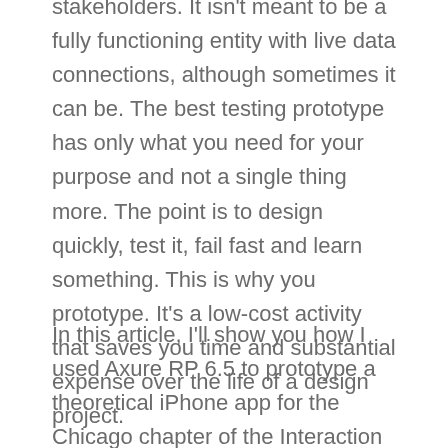stakeholders. It isn't meant to be a fully functioning entity with live data connections, although sometimes it can be. The best testing prototype has only what you need for your purpose and not a single thing more. The point is to design quickly, test it, fail fast and learn something. This is why you prototype. It's a low-cost activity that saves you time and substantial expense over the life of a design project.
In this article, I'll show you how I used Axure RP 6.5 to prototype a theoretical iPhone app for the Chicago chapter of the Interaction Design Association (IxDA). I created this sample prototype recently for an event about design tools and was told IDA chapter that I...